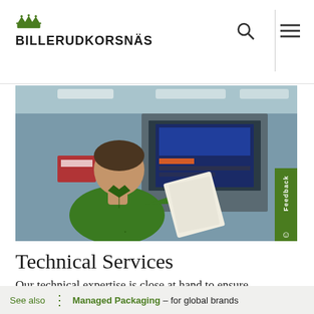BILLERUDKORSNÄS
[Figure (photo): A man in a green polo shirt standing at a computer terminal in an industrial/printing facility, holding papers and looking at a monitor screen. The environment shows a production floor with machinery and screens in the background.]
Technical Services
Our technical expertise is close at hand to ensure
See also  Managed Packaging – for global brands